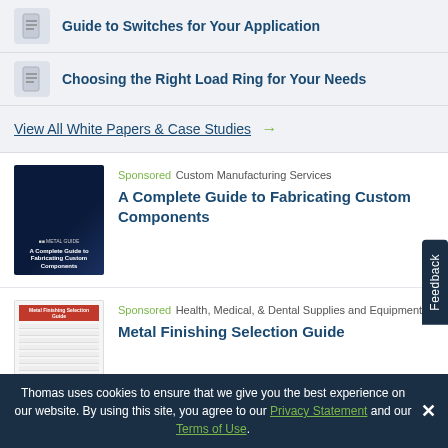Guide to Switches for Your Application
Choosing the Right Load Ring for Your Needs
View All White Papers & Case Studies →
Sponsored Custom Manufacturing Services
A Complete Guide to Fabricating Custom Components
[Figure (photo): Book cover: A Complete Guide to Fabricating Custom Components, dark blue industrial background]
Sponsored Health, Medical, & Dental Supplies and Equipment
Metal Finishing Selection Guide
[Figure (photo): Book cover: Metal Finishing Selection Guide, white background with red header and table content]
Thomas uses cookies to ensure that we give you the best experience on our website. By using this site, you agree to our Privacy Statement and our Terms of Use.